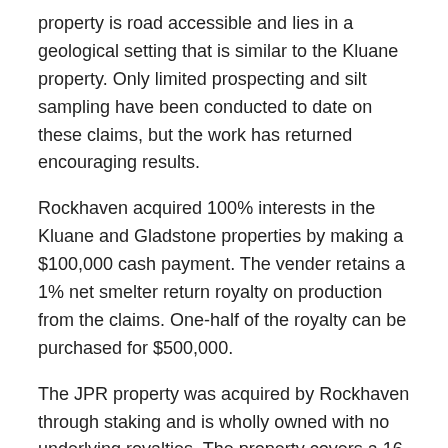property is road accessible and lies in a geological setting that is similar to the Kluane property. Only limited prospecting and silt sampling have been conducted to date on these claims, but the work has returned encouraging results.
Rockhaven acquired 100% interests in the Kluane and Gladstone properties by making a $100,000 cash payment. The vender retains a 1% net smelter return royalty on production from the claims. One-half of the royalty can be purchased for $500,000.
The JPR property was acquired by Rockhaven through staking and is wholly owned with no underlying royalties. The property covers a 16 sq km area that hosts very strong gold-in-silt geochemistry. Productive placer gold operations are situated downstream of the property.